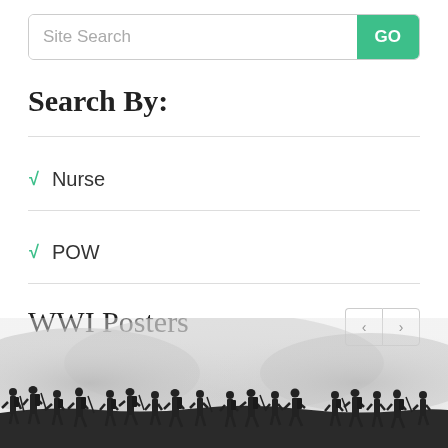Site Search
GO
Search By:
✓ Nurse
✓ POW
WWI Posters
[Figure (photo): Silhouette of WWI soldiers marching across a misty battlefield landscape]